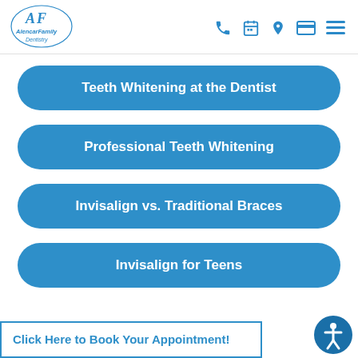[Figure (logo): Alencar Family Dentistry logo — stylized AF letters with cursive text]
Teeth Whitening at the Dentist
Professional Teeth Whitening
Invisalign vs. Traditional Braces
Invisalign for Teens
Click Here to Book Your Appointment!